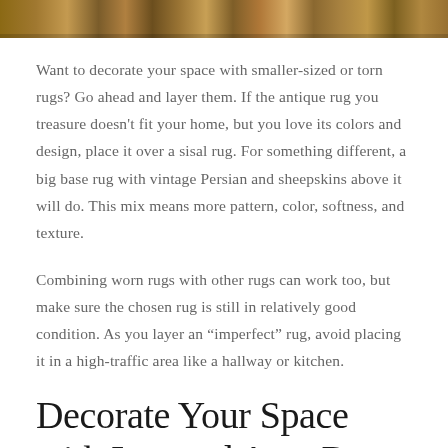[Figure (photo): A strip of colorful layered area rugs shown at the top of the page]
Want to decorate your space with smaller-sized or torn rugs? Go ahead and layer them. If the antique rug you treasure doesn't fit your home, but you love its colors and design, place it over a sisal rug. For something different, a big base rug with vintage Persian and sheepskins above it will do. This mix means more pattern, color, softness, and texture.
Combining worn rugs with other rugs can work too, but make sure the chosen rug is still in relatively good condition. As you layer an “imperfect” rug, avoid placing it in a high-traffic area like a hallway or kitchen.
Decorate Your Space with Layered Area Rugs